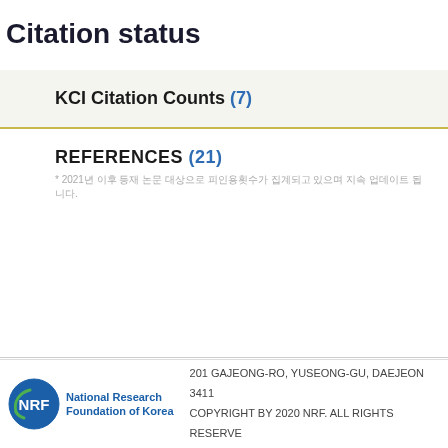Citation status
KCI Citation Counts (7)
REFERENCES (21)
* 2021년 이후 등재 논문 대상으로 피인용횟수가 집계되고 있으며 지속 업데이트 됩니다.
201 GAJEONG-RO, YUSEONG-GU, DAEJEON 3411  COPYRIGHT BY 2020 NRF. ALL RIGHTS RESERVE